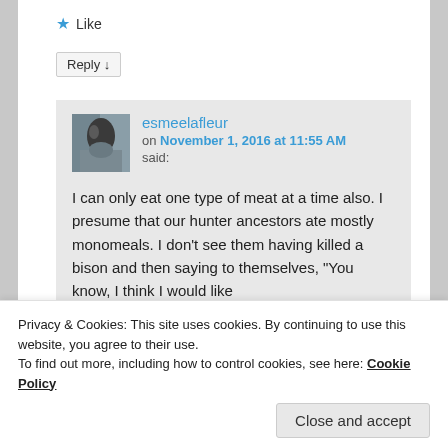★ Like
Reply ↓
esmeelafleur on November 1, 2016 at 11:55 AM said:
I can only eat one type of meat at a time also. I presume that our hunter ancestors ate mostly monomeals. I don't see them having killed a bison and then saying to themselves, "You know, I think I would like
Privacy & Cookies: This site uses cookies. By continuing to use this website, you agree to their use.
To find out more, including how to control cookies, see here: Cookie Policy
Close and accept